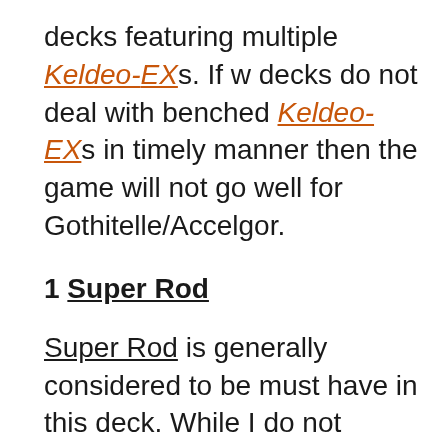decks featuring multiple Keldeo-EXs. If we do not deal with benched Keldeo-EXs in a timely manner then the game will not go well for Gothitelle/Accelgor.
1 Super Rod
Super Rod is generally considered to be a must have in this deck. While I do not agree that it must always be included I do feel like it has to be in the deck if you choose to go with a 1-0-1 Dusknoir line.